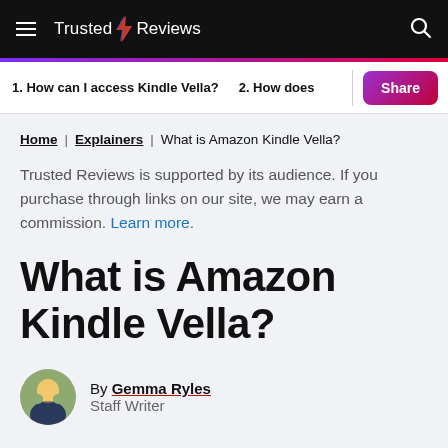Trusted Reviews
1. How can I access Kindle Vella?
2. How does
Home | Explainers | What is Amazon Kindle Vella?
Trusted Reviews is supported by its audience. If you purchase through links on our site, we may earn a commission. Learn more.
What is Amazon Kindle Vella?
By Gemma Ryles
Staff Writer